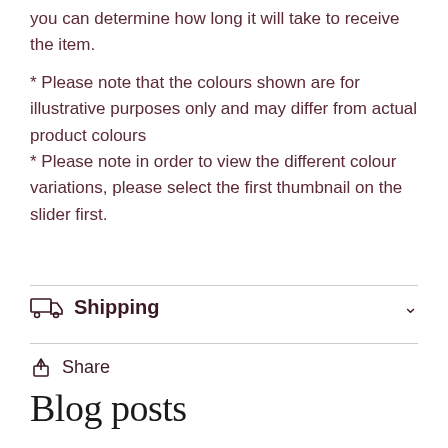you can determine how long it will take to receive the item.
* Please note that the colours shown are for illustrative purposes only and may differ from actual product colours
* Please note in order to view the different colour variations, please select the first thumbnail on the slider first.
Shipping
Share
Blog posts